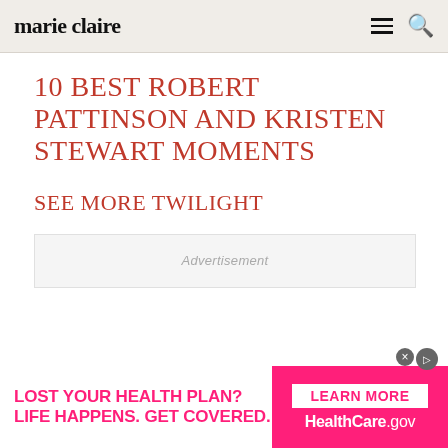marie claire
10 BEST ROBERT PATTINSON AND KRISTEN STEWART MOMENTS
SEE MORE TWILIGHT
Advertisement
[Figure (infographic): Bottom banner advertisement: Left side white background with pink bold text 'LOST YOUR HEALTH PLAN? LIFE HAPPENS. GET COVERED.' Right side pink background with white 'LEARN MORE' button and 'HealthCare.gov' text]